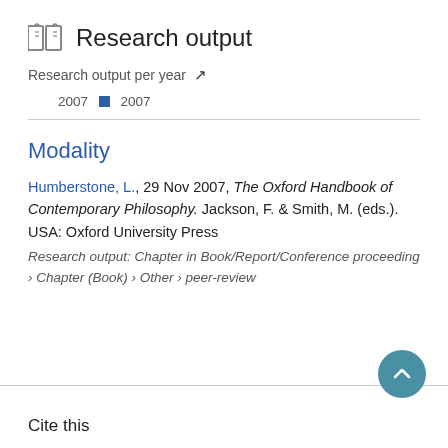Research output
Research output per year
2007 ■ 2007
Modality
Humberstone, L., 29 Nov 2007, The Oxford Handbook of Contemporary Philosophy. Jackson, F. & Smith, M. (eds.). USA: Oxford University Press
Research output: Chapter in Book/Report/Conference proceeding › Chapter (Book) › Other › peer-review
Cite this